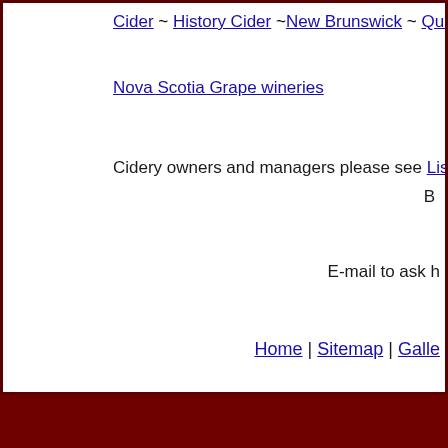Cider ~ History Cider ~New Brunswick ~ Quebec ~ Ontario
Nova Scotia Grape wineries
Cidery owners and managers please see Listing Your Winery
To have a banner supporting y
B
E-mail to ask h
Home | Sitemap | Galle